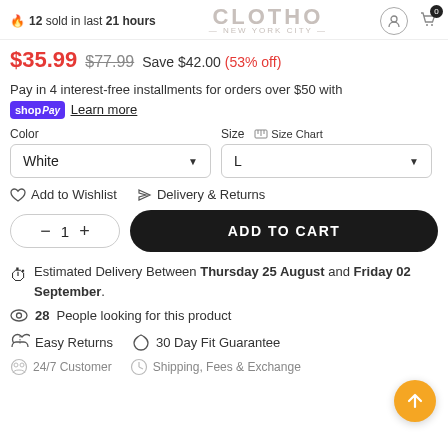12 sold in last 21 hours | CLOTHO NEW YORK CITY
$35.99  $77.99  Save $42.00 (53% off)
Pay in 4 interest-free installments for orders over $50 with shopPay  Learn more
Color  White ▼   Size  Size Chart  L ▼
♡ Add to Wishlist   ✈ Delivery & Returns
− 1 +   ADD TO CART
Estimated Delivery Between Thursday 25 August and Friday 02 September.
28 People looking for this product
Easy Returns   30 Day Fit Guarantee
24/7 Customer...   Shipping, Fees & Exchange...